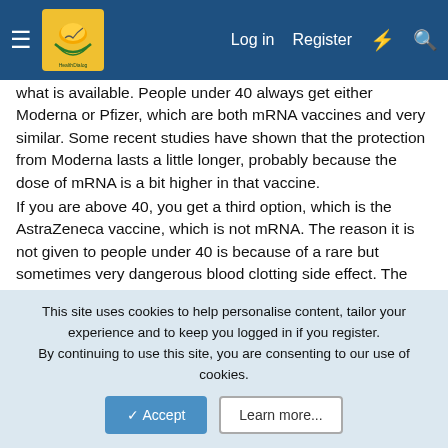HealthDialog — Log in  Register
what is available. People under 40 always get either Moderna or Pfizer, which are both mRNA vaccines and very similar. Some recent studies have shown that the protection from Moderna lasts a little longer, probably because the dose of mRNA is a bit higher in that vaccine.
If you are above 40, you get a third option, which is the AstraZeneca vaccine, which is not mRNA. The reason it is not given to people under 40 is because of a rare but sometimes very dangerous blood clotting side effect. The mRNA vaccines don't have that side effect and seem a little more efficient at preventing serious COVID, so that's what I had, but I'm under 40 and would not have been given AstraZeneca either way.
Sherry Trifle
This site uses cookies to help personalise content, tailor your experience and to keep you logged in if you register.
By continuing to use this site, you are consenting to our use of cookies.